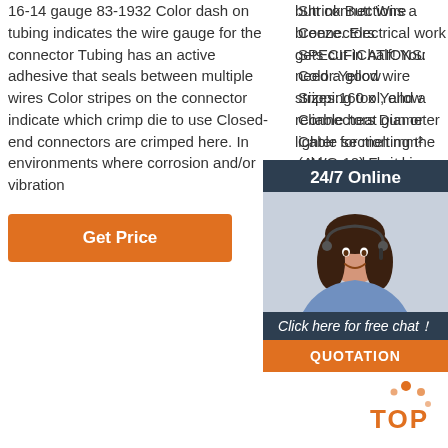16-14 gauge 83-1932 Color dash on tubing indicates the wire gauge for the connector Tubing has an active adhesive that seals between multiple wires Color stripes on the connector indicate which crimp die to use Closed-end connectors are crimped here. In environments where corrosion and/or vibration
butt connections a breeze. Electrical work gets cut in half! You need a good wire stripping tool, and a reliable heat gun or lighter for melting the solder and shrinking the tubing.
[Figure (other): Orange Get Price button]
Shrink Butt Wire Connectors SPECIFICATIONS: Color:Yellow Sizes:160 x Yellow Connectors Diameter Cable section mm² (AWG 10) Features: Waterproof Dual-Wall tubing waterproof and prevents wire corrosion. Hot Melt Adhesive & Solder inside sealed with Advanced Waterproof
[Figure (other): 24/7 Online chat widget with photo of woman wearing headset, Click here for free chat!, QUOTATION button]
[Figure (logo): TOP logo with orange dots]
[Figure (other): Orange Get Price button (bottom left, partial)]